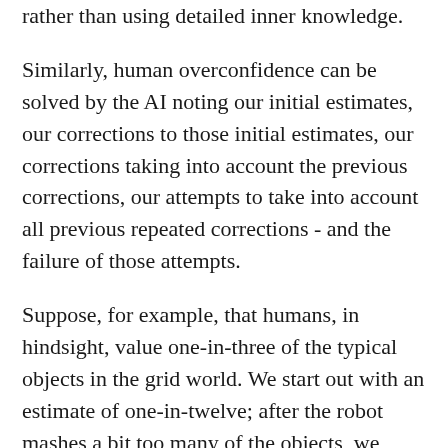rather than using detailed inner knowledge.
Similarly, human overconfidence can be solved by the AI noting our initial estimates, our corrections to those initial estimates, our corrections taking into account the previous corrections, our attempts to take into account all previous repeated corrections - and the failure of those attempts.
Suppose, for example, that humans, in hindsight, value one-in-three of the typical objects in the grid world. We start out with an estimate of one-in-twelve; after the robot mashes a bit too many of the objects, we update to one-in-nine; after being repeatedly told that we underestimate our hindsight, we update to one-in-six... and stay there.
But meanwhile, the robot can still see that we continue to underestimate, and goes directly to a one-in-three estimate, with more advanced intuition about